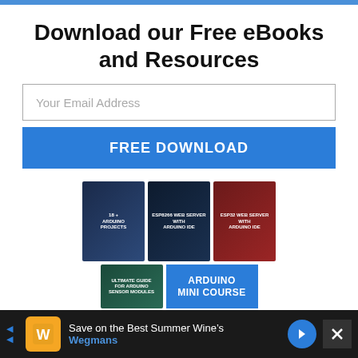Download our Free eBooks and Resources
Your Email Address
FREE DOWNLOAD
[Figure (illustration): Three eBook covers displayed: '18+ Arduino Projects', 'ESP8266 Web Server with Arduino IDE', 'ESP32 Web Server with Arduino IDE', plus two more books below including 'Ultimate Guide for Arduino Sensor Modules' and 'Arduino Mini Course']
Save on the Best Summer Wines Wegmans